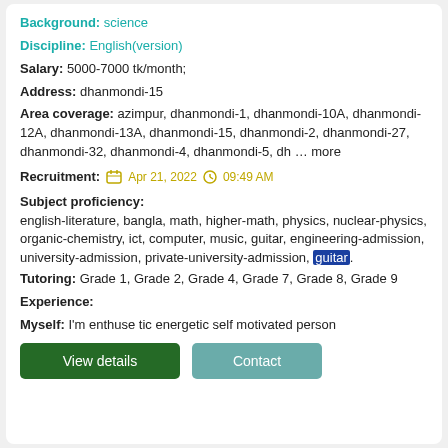Background: science
Discipline: English(version)
Salary: 5000-7000 tk/month;
Address: dhanmondi-15
Area coverage: azimpur, dhanmondi-1, dhanmondi-10A, dhanmondi-12A, dhanmondi-13A, dhanmondi-15, dhanmondi-2, dhanmondi-27, dhanmondi-32, dhanmondi-4, dhanmondi-5, dh ... more
Recruitment: Apr 21, 2022  09:49 AM
Subject proficiency: english-literature, bangla, math, higher-math, physics, nuclear-physics, organic-chemistry, ict, computer, music, guitar, engineering-admission, university-admission, private-university-admission, guitar.
Tutoring: Grade 1, Grade 2, Grade 4, Grade 7, Grade 8, Grade 9
Experience:
Myself: I'm enthuse tic energetic self motivated person